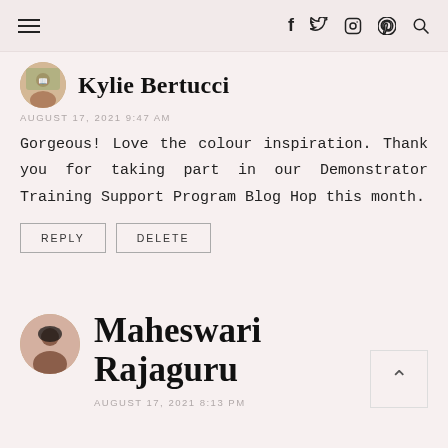Navigation bar with hamburger menu and social icons: f, twitter, instagram, pinterest, search
Kylie Bertucci
AUGUST 17, 2021 9:47 AM
Gorgeous! Love the colour inspiration. Thank you for taking part in our Demonstrator Training Support Program Blog Hop this month.
REPLY
DELETE
Maheswari Rajaguru
AUGUST 17, 2021 8:13 PM